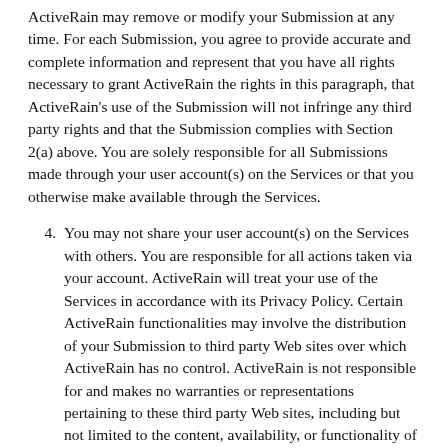ActiveRain may remove or modify your Submission at any time. For each Submission, you agree to provide accurate and complete information and represent that you have all rights necessary to grant ActiveRain the rights in this paragraph, that ActiveRain's use of the Submission will not infringe any third party rights and that the Submission complies with Section 2(a) above. You are solely responsible for all Submissions made through your user account(s) on the Services or that you otherwise make available through the Services.
4. You may not share your user account(s) on the Services with others. You are responsible for all actions taken via your account. ActiveRain will treat your use of the Services in accordance with its Privacy Policy. Certain ActiveRain functionalities may involve the distribution of your Submission to third party Web sites over which ActiveRain has no control. ActiveRain is not responsible for and makes no warranties or representations pertaining to these third party Web sites, including but not limited to the content, availability, or functionality of such Web sites. You are responsible for ensuring that your Submission